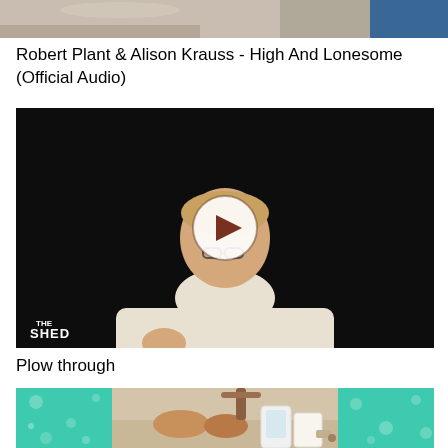[Figure (screenshot): Top portion of a video thumbnail showing a painting/artwork background with blue element on the right]
Robert Plant & Alison Krauss - High And Lonesome (Official Audio)
[Figure (screenshot): Video thumbnail showing a man in a white shirt against a dark background with a white play button overlay and 'THE SHED' logo in the bottom left corner]
Plow through
[Figure (screenshot): Bottom thumbnail with teal/green panels on sides and a center photo of hands on a table with devices]